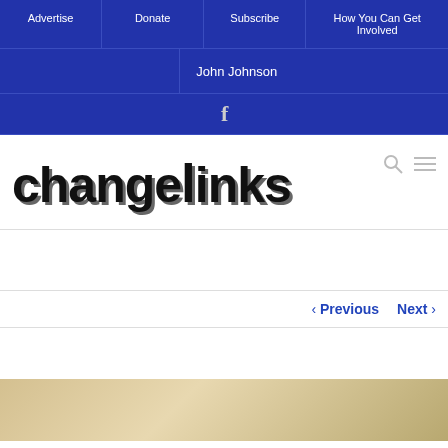Advertise | Donate | Subscribe | How You Can Get Involved
John Johnson
[Figure (logo): Facebook icon in navigation bar]
[Figure (logo): Changelinks logo — bold black text with drop shadow, plus search and menu icons]
< Previous   Next >